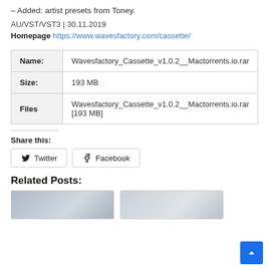– Added: artist presets from Toney.
AU/VST/VST3 | 30.11.2019
Homepage https://www.wavesfactory.com/cassette/
|  |  |
| --- | --- |
| Name: | Wavesfactory_Cassette_v1.0.2__Mactorrents.io.rar |
| Size: | 193 MB |
| Files | Wavesfactory_Cassette_v1.0.2__Mactorrents.io.rar [193 MB] |
Share this:
Twitter  Facebook
Related Posts: